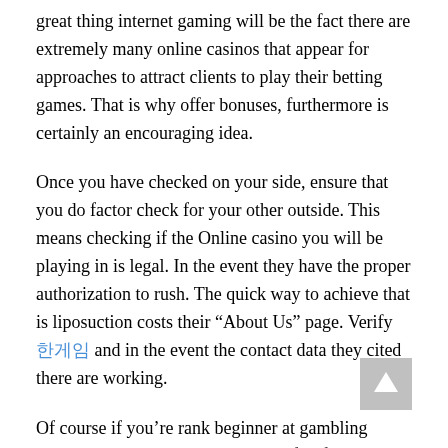great thing internet gaming will be the fact there are extremely many online casinos that appear for approaches to attract clients to play their betting games. That is why offer bonuses, furthermore is certainly an encouraging idea.
Once you have checked on your side, ensure that you do factor check for your other outside. This means checking if the Online casino you will be playing in is legal. In the event they have the proper authorization to rush. The quick way to achieve that is liposuction costs their “About Us” page. Verify 한게임 and in the event the contact data they cited there are working.
Of course if you're rank beginner at gambling online then you will need take benefit of the play for free games that can be found on worth it casino online business. If the site you are in does not offer any free play then check out another site that comes with this you are buying. And then play some because of these games to familiarize yourself with a new game is played. Permits you to